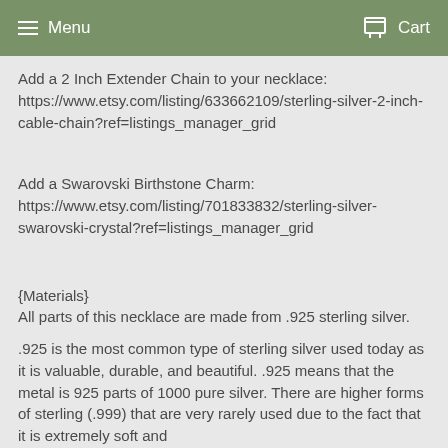Menu   Cart
Add a 2 Inch Extender Chain to your necklace: https://www.etsy.com/listing/633662109/sterling-silver-2-inch-cable-chain?ref=listings_manager_grid
Add a Swarovski Birthstone Charm: https://www.etsy.com/listing/701833832/sterling-silver-swarovski-crystal?ref=listings_manager_grid
{Materials}
All parts of this necklace are made from .925 sterling silver.
.925 is the most common type of sterling silver used today as it is valuable, durable, and beautiful. .925 means that the metal is 925 parts of 1000 pure silver. There are higher forms of sterling (.999) that are very rarely used due to the fact that it is extremely soft and